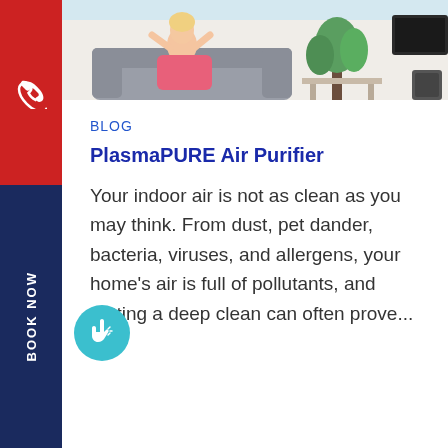[Figure (photo): Woman in pink top relaxing on grey sofa with plants and furniture in background — interior living room scene]
BLOG
PlasmaPURE Air Purifier
Your indoor air is not as clean as you may think. From dust, pet dander, bacteria, viruses, and allergens, your home's air is full of pollutants, and getting a deep clean can often prove...